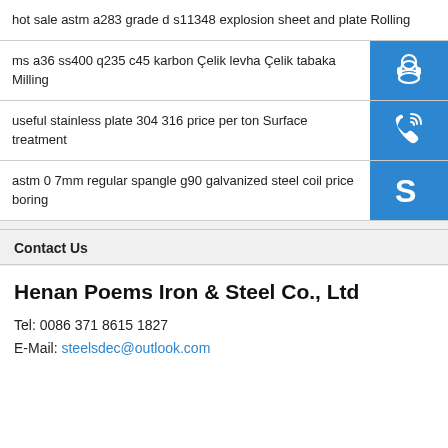hot sale astm a283 grade d s11348 explosion sheet and plate Rolling
ms a36 ss400 q235 c45 karbon Çelik levha Çelik tabaka Milling
useful stainless plate 304 316 price per ton Surface treatment
astm 0 7mm regular spangle g90 galvanized steel coil price boring
Contact Us
Henan Poems Iron & Steel Co., Ltd
Tel: 0086 371 8615 1827
E-Mail: steelsdec@outlook.com